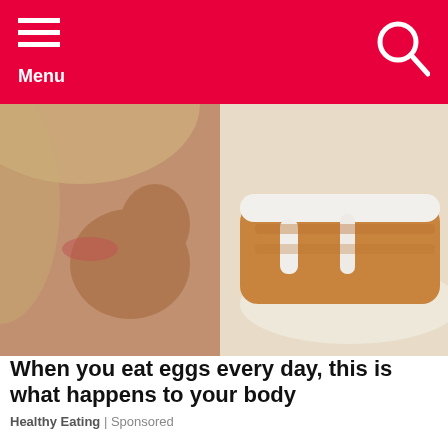Menu
[Figure (photo): A woman eating or nibbling food with her hand, with a frosted pastry or cinnamon roll visible to the right on a plate.]
When you eat eggs every day, this is what happens to your body
Healthy Eating | Sponsored
[Figure (photo): Workers trimming or removing a large tree near a house with grey siding, using machinery.]